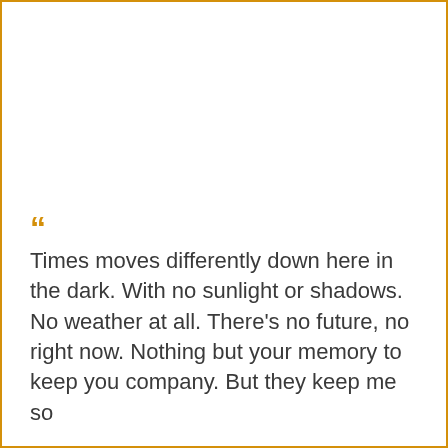“Times moves differently down here in the dark. With no sunlight or shadows. No weather at all. There’s no future, no right now. Nothing but your memory to keep you company. But they keep me so